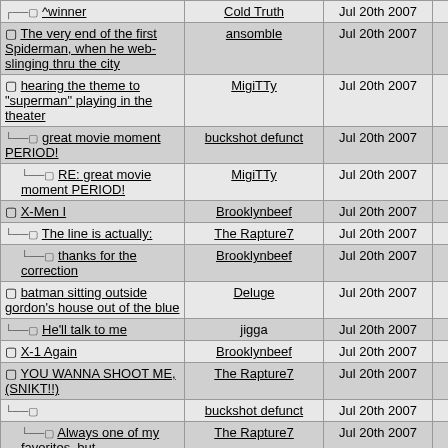| Title | Author | Date | Num |
| --- | --- | --- | --- |
| ^winner | Cold Truth | Jul 20th 2007 | 40 |
| The very end of the first Spiderman, when he web-slinging thru the city | ansomble | Jul 20th 2007 | 20 |
| hearing the theme to "superman" playing in the theater | MigiTTy | Jul 20th 2007 | 21 |
| great movie moment PERIOD! | buckshot defunct | Jul 20th 2007 | 27 |
| RE: great movie moment PERIOD! | MigiTTy | Jul 20th 2007 | 31 |
| X-Men I | Brooklynbeef | Jul 20th 2007 | 23 |
| The line is actually: | The Rapture7 | Jul 20th 2007 | 30 |
| thanks for the correction | Brooklynbeef | Jul 20th 2007 | 54 |
| batman sitting outside gordon's house out of the blue | Deluge | Jul 20th 2007 | 24 |
| He'll talk to me | jigga | Jul 20th 2007 | 49 |
| X-1 Again | Brooklynbeef | Jul 20th 2007 | 25 |
| YOU WANNA SHOOT ME, (SNIKT!!) | The Rapture7 | Jul 20th 2007 | 26 |
|  | buckshot defunct | Jul 20th 2007 | 29 |
| Always one of my favorites, but | The Rapture7 | Jul 20th 2007 | 32 |